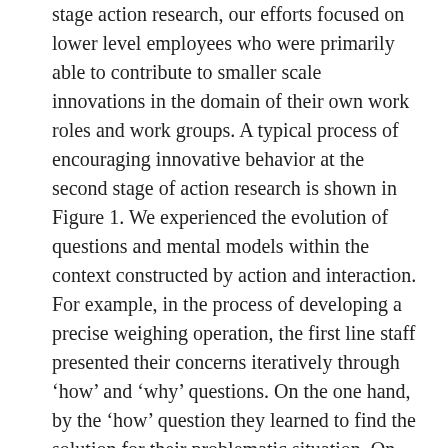stage action research, our efforts focused on lower level employees who were primarily able to contribute to smaller scale innovations in the domain of their own work roles and work groups. A typical process of encouraging innovative behavior at the second stage of action research is shown in Figure 1. We experienced the evolution of questions and mental models within the context constructed by action and interaction. For example, in the process of developing a precise weighing operation, the first line staff presented their concerns iteratively through 'how' and 'why' questions. On the one hand, by the 'how' question they learned to find the solution for their problematic situation. On the other hand, by the 'why' question they tried to make sense of their actions and interactions